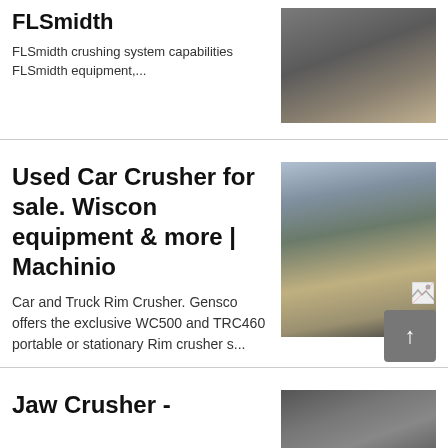FLSmidth
FLSmidth crushing system capabilities FLSmidth equipment,...
[Figure (photo): Photo of FLSmidth crushing equipment machinery at a mining/quarry site]
Used Car Crusher for sale. Wiscon equipment & more | Machinio
Car and Truck Rim Crusher. Gensco offers the exclusive WC500 and TRC460 portable or stationary Rim crusher s...
[Figure (photo): Photo of a mobile crushing machine (teal/blue colored) at a quarry or mining site]
Jaw Crusher -
[Figure (photo): Photo of jaw crusher equipment at bottom of page]